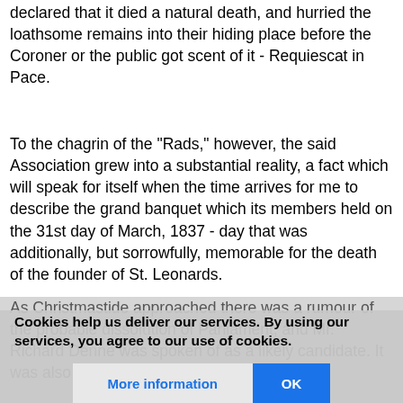declared that it died a natural death, and hurried the loathsome remains into their hiding place before the Coroner or the public got scent of it - Requiescat in Pace.
To the chagrin of the "Rads," however, the said Association grew into a substantial reality, a fact which will speak for itself when the time arrives for me to describe the grand banquet which its members held on the 31st day of March, 1837 - day that was additionally, but sorrowfully, memorable for the death of the founder of St. Leonards.
As Christmastide approached there was a rumour of the probable dissolution of Parliament, and Mr. Richard Denne was spoken of as a likely candidate. It was also stated that th... All Saints hant...
Cookies help us deliver our services. By using our services, you agree to our use of cookies.